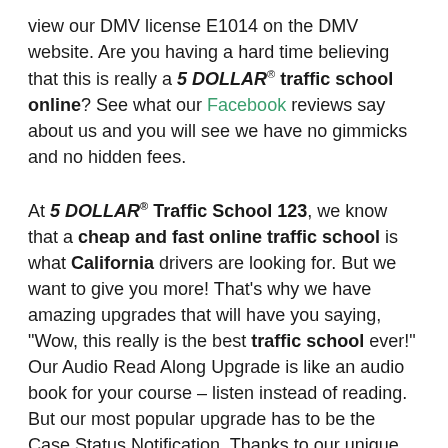view our DMV license E1014 on the DMV website. Are you having a hard time believing that this is really a 5 DOLLAR® traffic school online? See what our Facebook reviews say about us and you will see we have no gimmicks and no hidden fees.
At 5 DOLLAR® Traffic School 123, we know that a cheap and fast online traffic school is what California drivers are looking for. But we want to give you more! That's why we have amazing upgrades that will have you saying, "Wow, this really is the best traffic school ever!" Our Audio Read Along Upgrade is like an audio book for your course – listen instead of reading. But our most popular upgrade has to be the Case Status Notification. Thanks to our unique technology, 5 DOLLAR® Traffic School 123 students never have to call the court to make sure their ticket was cleared. We get the case status information ourselves and put it in a handy email to the student. Want to know how students are able to finish our 5 DOLLAR® traffic school online in no time? The course was written and designed to speed you through and still teach you the important laws